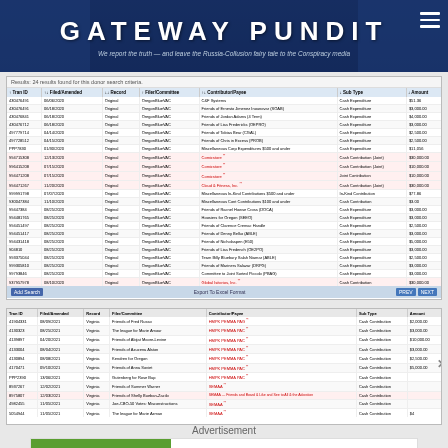GATEWAY PUNDIT — We report the truth — and leave the Russia-Collusion fairy tale to the Conspiracy media
| Tran ID | Filed/Amended | Record | Filer/Committee | Contributor/Payee | Sub Type | Amount |
| --- | --- | --- | --- | --- | --- | --- |
| 430476691 | 06/06/2020 | Original | OregonBlueVAC | C&F Systems | Cash Expenditure | $51.36 |
| 430476491 | 06/18/2020 | Original | OregonBlueVAC | Friends of Ernesto Jimenez Inounovar (SOAB) | Cash Expenditure | $3,000.00 |
| 430476841 | 06/18/2020 | Original | OregonBlueVAC | Friends of Jordan Adams (4 Term) | Cash Expenditure | $4,000.00 |
| 430476712 | 06/18/2020 | Original | OregonBlueVAC | Friends of Lisa Fredericks (OEPRO) | Cash Expenditure | $3,000.00 |
| 497779714 | 04/14/2020 | Original | OregonBlueVAC | Friends of Tobias Bear (CGAL) | Cash Expenditure | $2,500.00 |
| 497728512 | 04/15/2020 | Original | OregonBlueVAC | Friends of Chris in Excess (PROB) | Cash Expenditure | $2,500.00 |
| PPP7830 | 01/30/2020 | Original | OregonBlueVAC | Miscellaneous Corp Expenditures $500 and under | Cash Expenditure | $11,056 |
| 994715308 | 12/13/2020 | Original | OregonBlueVAC | Comicstore  | Cash Contribution (Joint) | $30,000.00 |
| 996415208 | 07/15/2020 | Original | OregonBlueVAC | Comicstore  | Cash Contribution (Joint) | $10,000.00 |
| 994471208 | 07/15/2020 | Original | OregonBlueVAC | Comicstore  | Joint Contribution | $10,000.00 |
| 994471267 | 11/20/2020 | Original | OregonBlueVAC | Cloud & Fitness, Inc.  | Cash Contribution (Joint) | $30,000.00 |
| 999991798 | 07/07/2020 | Original | OregonBlueVAC | Miscellaneous In-Kind Contributions $500 and under | In-Kind Contribution | $77.86 |
| 930047384 | 11/10/2020 | Original | OregonBlueVAC | Miscellaneous Cont Contributions $100 and under | Cash Contribution | $3.00 |
| 99447384 | 08/25/2020 | Original | OregonBlueVAC | Friends of Raenel Howse Cross (DOCA) | Cash Expenditure | $3,000.00 |
| 994481765 | 08/25/2020 | Original | OregonBlueVAC | Hoosiers for Oregon (SEEO) | Cash Expenditure | $3,000.00 |
| 994451497 | 08/25/2020 | Original | OregonBlueVAC | Friends of Clarence Cremac Handle | Cash Expenditure | $2,500.00 |
| 994451417 | 08/25/2020 | Original | OregonBlueVAC | Friends of Denny Belko (ABLE) | Cash Expenditure | $3,000.00 |
| 994431418 | 08/25/2020 | Original | OregonBlueVAC | Friends of Nicholaspen (E50) | Cash Expenditure | $5,000.00 |
| 904810  | 08/25/2020 | Original | OregonBlueVAC | Friends of Lisa Fredench (OE2PO) | Cash Expenditure | $3,000.00 |
| 993375044 | 08/25/2020 | Original | OregonBlueVAC | Team Billy Bluebury Salah Niamar (ABLE) | Cash Expenditure | $2,500.00 |
| 999305810 | 08/25/2020 | Original | OregonBlueVAC | Friends of Mariners Salazar (DRPG) | Cash Expenditure | $3,000.00 |
| 99793846 | 08/25/2020 | Original | OregonBlueVAC | Committee to Joint Sorted Piccolo (PBAG) | Cash Expenditure | $3,000.00 |
| 937957978 | 08/10/2020 | Original | OregonBlueVAC | Global Isitorios, Inc.  | Cash Contribution | $30,000.00 |
| 937294817 | 08/10/2020 | Original | OregonBlueVAC | Innostar  | Cash Contribution | $3,000.00 |
| 497184664 | 08/12/2020 | Original | OregonBlueVAC | Pfizer, Inc.  | Cash Contribution | $30,000.00 |
| Tran ID | Filed/Amended | Record | Filer/Committee | Contributor/Payee | Sub Type | Amount |
| --- | --- | --- | --- | --- | --- | --- |
| 41904331 | 08/09/2021 | Virginia | Friends of Fred Russo | HMPK PEMMA PAG  | Cash Contribution | $2,000.00 |
| 4130323 | 08/25/2021 | Virginia | The league for Marie Amour | HMPK PEMMA PAC  | Cash Contribution | $3,000.00 |
| 4139897 | 04/20/2021 | Virginia | Friends of Abijat Moore-Levine | HMPK PEMMA PAC  | Cash Contribution | $10,000.00 |
| 4133004 | 08/04/2021 | Virginia | Friends of Azucena Alston | HMPK PEMMA PAC  | Cash Contribution | $3,000.00 |
| 4130894 | 08/08/2021 | Virginia | Kendren for Oregon | HMPK PEMMA PAC  | Cash Contribution | $2,500.00 |
| 4170471 | 09/10/2021 | Virginia | Friends of Anna Soviet | HMPK PEMMA PAC  | Cash Contribution | $5,000.00 |
| PPP2390 | 13/06/2021 | Virginia | Gutenberg for Rose Bup | HMPK PEMMA PAC  | Cash Contribution |  |
| 8937267 | 12/02/2021 | Virginia | Friends of Summer Warner | SEMAA  | Cash Contribution |  |
| 8975807 | 12/03/2021 | Virginia | Friends of Shelly Bueban-Zacilo | SEMAA — Friends and Board & Like and See to All & the Adoration | Cash Contribution |  |
| 4982455 | 11/05/2021 | Virginia | Joe-CBO-50 Votes: Misconstructions | SEMAA  | Cash Contribution |  |
| 5054944 | 11/05/2021 | Virginia | The league for Marie Azman | SEMAA  | Cash Contribution | $4 |
Advertisement
[Figure (photo): Food photo showing colorful fresh spring rolls or lettuce wraps with vegetables]
8 Easy Exotic Meals Anyone Can Make
Herbeauty